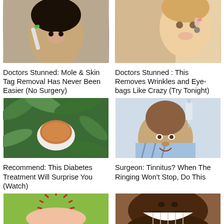[Figure (photo): Woman holding a toothbrush near her face, related to mole/skin tag removal]
Doctors Stunned: Mole & Skin Tag Removal Has Never Been Easier (No Surgery)
[Figure (photo): Woman touching her face near her eye, related to wrinkle/eye-bag treatment]
Doctors Stunned : This Removes Wrinkles and Eye-bags Like Crazy (Try Tonight)
[Figure (photo): Herbal tea in a bowl surrounded by green leaves, related to diabetes treatment]
Recommend: This Diabetes Treatment Will Surprise You (Watch)
[Figure (photo): Man tilting head while applying ear drops, related to tinnitus treatment]
Surgeon: Tinnitus? When The Ringing Won't Stop, Do This
[Figure (photo): Hand holding a rambutan fruit, related to health remedy]
[Figure (photo): Person with bright white smile, related to dental health]